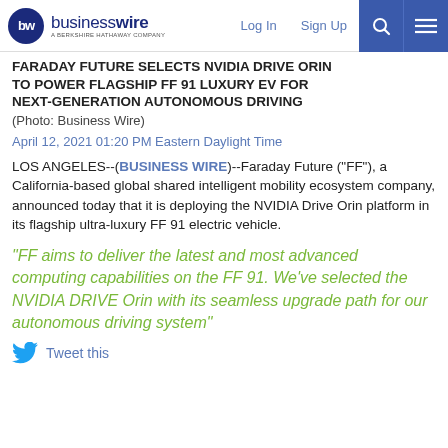businesswire — A BERKSHIRE HATHAWAY COMPANY | Log In | Sign Up
FARADAY FUTURE SELECTS NVIDIA DRIVE ORIN TO POWER FLAGSHIP FF 91 LUXURY EV FOR NEXT-GENERATION AUTONOMOUS DRIVING
(Photo: Business Wire)
April 12, 2021 01:20 PM Eastern Daylight Time
LOS ANGELES--(BUSINESS WIRE)--Faraday Future ("FF"), a California-based global shared intelligent mobility ecosystem company, announced today that it is deploying the NVIDIA Drive Orin platform in its flagship ultra-luxury FF 91 electric vehicle.
“FF aims to deliver the latest and most advanced computing capabilities on the FF 91. We’ve selected the NVIDIA DRIVE Orin with its seamless upgrade path for our autonomous driving system”
Tweet this